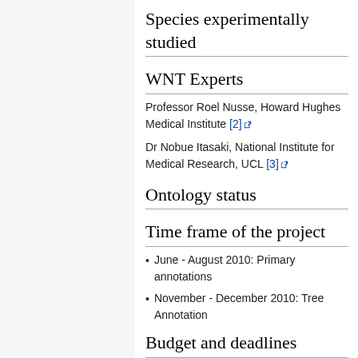Species experimentally studied
WNT Experts
Professor Roel Nusse, Howard Hughes Medical Institute [2]
Dr Nobue Itasaki, National Institute for Medical Research, UCL [3]
Ontology status
Time frame of the project
June - August 2010: Primary annotations
November - December 2010: Tree Annotation
Budget and deadlines